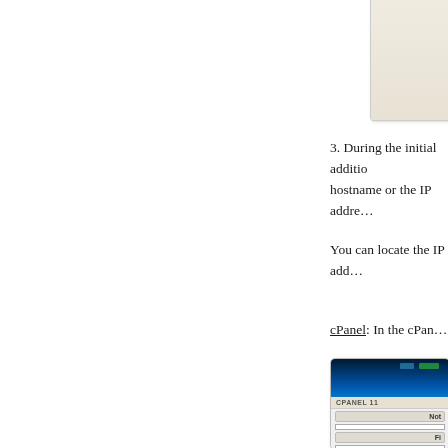[Figure (screenshot): Top fragment of a screenshot showing a form or dialog box with a beige/cream background, partially visible]
3. During the initial addition hostname or the IP addre...
You can locate the IP add...
cPanel: In the cPan...
[Figure (screenshot): Screenshot of cPanel 11 interface showing a banner with blue server image, cPanel 11 logo bar, Notifications section, Find section with search input, and Frequently Accessed section listing MySQL® Databases, Remote MySQL, MySQL® Databases]